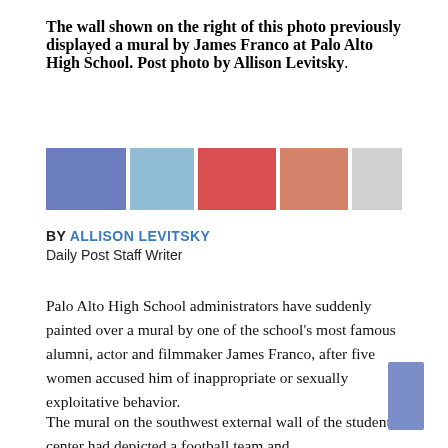The wall shown on the right of this photo previously displayed a mural by James Franco at Palo Alto High School. Post photo by Allison Levitsky.
[Figure (other): Color palette bar with five color swatches: medium blue-purple, light blue, red, salmon/coral, light gray]
BY ALLISON LEVITSKY
Daily Post Staff Writer
Palo Alto High School administrators have suddenly painted over a mural by one of the school’s most famous alumni, actor and filmmaker James Franco, after five women accused him of inappropriate or sexually exploitative behavior.
The mural on the southwest external wall of the student center had depicted a football team and